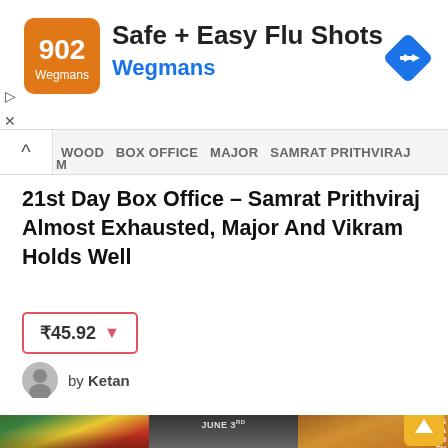[Figure (other): Advertisement banner for Wegmans Safe + Easy Flu Shots with orange/red logo, navigation arrow icon on the right, and close/back icons on the left]
WOOD  BOX OFFICE  MAJOR  SAMRAT PRITHVIRAJ
21st Day Box Office – Samrat Prithviraj Almost Exhausted, Major And Vikram Holds Well
₹45.92 ▼
by Ketan
[Figure (photo): Three movie promotional posters side by side: left shows an actor with Indian tricolor flag theme, center shows 'JUNE 3rd' worldwide release poster with dark male figure, right shows Akshay Kumar as Samrat Prithviraj in royal orange/gold attire with text AKSHAY KUMAR, SAMRAT PRITHVIRAJ, CHANDRAPRAKASH]